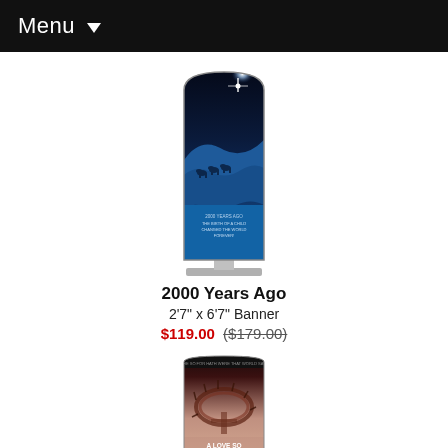Menu
[Figure (photo): Tall vertical church banner showing a night sky with a bright star, silhouettes of camels and travelers crossing desert dunes, with text about the birth of a child. The banner has an arched top and sits on a stand.]
2000 Years Ago
2'7" x 6'7" Banner
$119.00 ($179.00)
[Figure (photo): Partial view of a vertical church banner showing a crown of thorns with text 'A LOVE SO GREAT' at the bottom.]